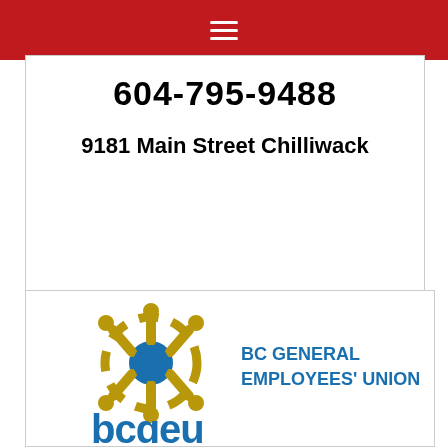Navigation menu bar (red)
604-795-9488
9181 Main Street Chilliwack
[Figure (logo): BC General Employees' Union (BCGEU) logo with gold snowflake/connector symbol, blue central circle, blue 'bcgeu' text below, and 'BC GENERAL EMPLOYEES' UNION' in blue text to the right]